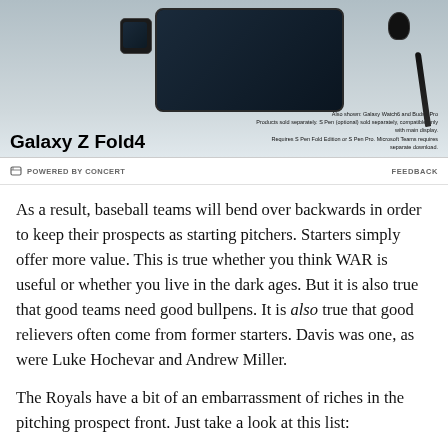[Figure (photo): Samsung Galaxy Z Fold4 advertisement banner showing the phone, Galaxy Watch6, Buds2 Pro, and S Pen. Text: 'Galaxy Z Fold4'. Small print: 'Also shown: Galaxy Watch6 and Buds2 Pro. Products sold separately. S Pen (optional) sold separately, compatible only with main display. Requires S Pen Fold Edition or S Pen Pro. Microsoft Teams requires separate download.']
POWERED BY CONCERT
FEEDBACK
As a result, baseball teams will bend over backwards in order to keep their prospects as starting pitchers. Starters simply offer more value. This is true whether you think WAR is useful or whether you live in the dark ages. But it is also true that good teams need good bullpens. It is also true that good relievers often come from former starters. Davis was one, as were Luke Hochevar and Andrew Miller.
The Royals have a bit of an embarrassment of riches in the pitching prospect front. Just take a look at this list: